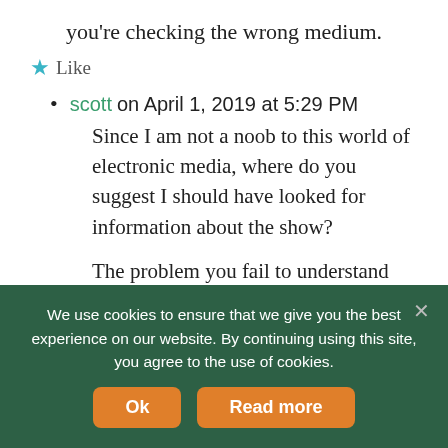you’re checking the wrong medium.
★ Like
scott on April 1, 2019 at 5:29 PM
Since I am not a noob to this world of electronic media, where do you suggest I should have looked for information about the show?

The problem you fail to understand was that I did not attend and heard little to nothing. If they can’t get information to me as an interested
We use cookies to ensure that we give you the best experience on our website. By continuing using this site, you agree to the use of cookies.